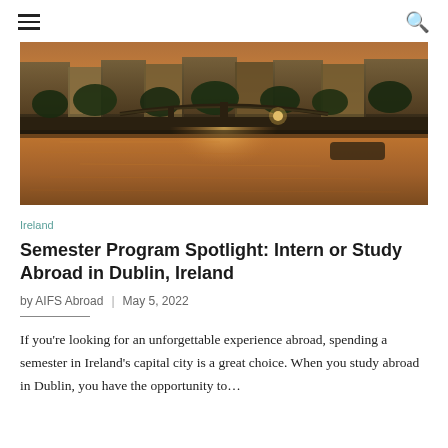☰ [hamburger menu] | [search icon]
[Figure (photo): A scenic photo of Dublin, Ireland at sunset showing a river (the Liffey) with a bridge in the background, golden warm reflections on the water, buildings lining the quayside, and trees along the embankment.]
Ireland
Semester Program Spotlight: Intern or Study Abroad in Dublin, Ireland
by AIFS Abroad | May 5, 2022
If you're looking for an unforgettable experience abroad, spending a semester in Ireland's capital city is a great choice. When you study abroad in Dublin, you have the opportunity to…